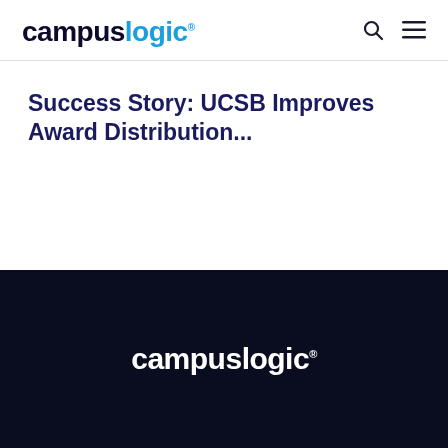campuslogic.
Success Story: UCSB Improves Award Distribution...
[Figure (logo): CampusLogic white logo on dark navy background in footer]